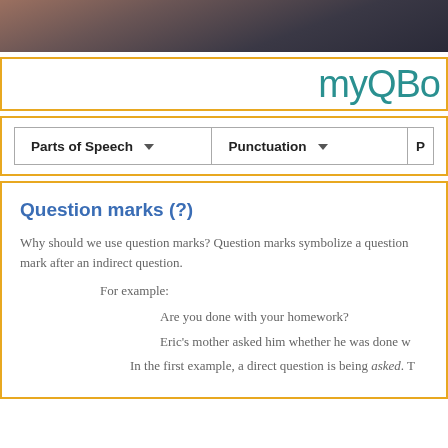[Figure (photo): Dark photo banner showing a person in formal attire, cropped at top of page]
myQBo
| Parts of Speech | Punctuation | P |
| --- | --- | --- |
Question marks (?)
Why should we use question marks? Question marks symbolize a question mark after an indirect question.
For example:
Are you done with your homework?
Eric's mother asked him whether he was done w
In the first example, a direct question is being asked. T